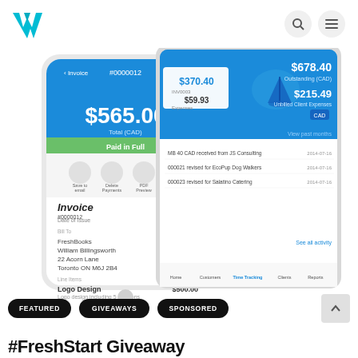W logo with navigation search and menu icons
[Figure (screenshot): FreshBooks mobile app screenshots showing invoice #0000012 for $565.00 Total (CAD) paid in full, with client FreshBooks William Billingsworth 22 Acorn Lane Toronto ON M6J 2B4, Logo Design $500.00, date April 30 2015; and tablet showing $678.40 Outstanding (CAD), $215.49 Unbilled Client Expenses, $370.40 invoice, $59.93 Expenses, activity log entries, and navigation tabs]
FEATURED
GIVEAWAYS
SPONSORED
#FreshStart Giveaway